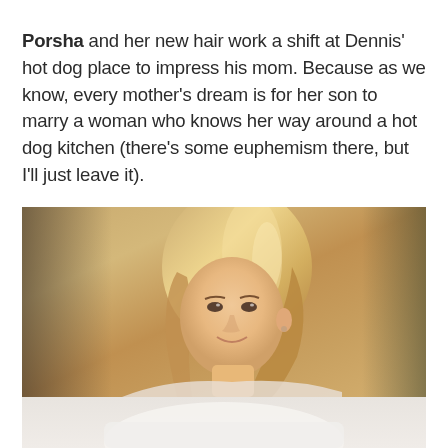Porsha and her new hair work a shift at Dennis' hot dog place to impress his mom. Because as we know, every mother's dream is for her son to marry a woman who knows her way around a hot dog kitchen (there's some euphemism there, but I'll just leave it).
[Figure (photo): A woman with medium-length blonde highlighted hair smiling slightly, photographed indoors with a warm blurred background. A second partial image of someone in white appears at the very bottom.]